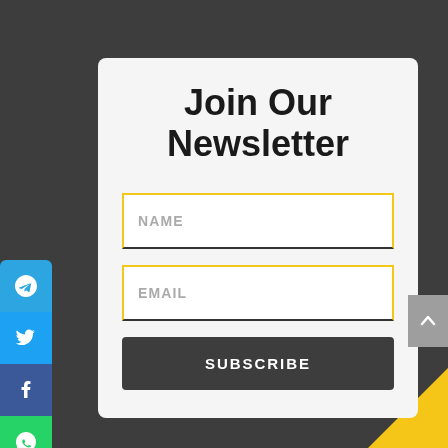Join Our Newsletter
[Figure (infographic): Newsletter signup form with NAME and EMAIL input fields and a SUBSCRIBE button, on a light grey card over a dark grey background. Social media icons (Telegram, Twitter, Facebook, WhatsApp, Email) appear on the left sidebar. A scroll-up button appears on the right edge.]